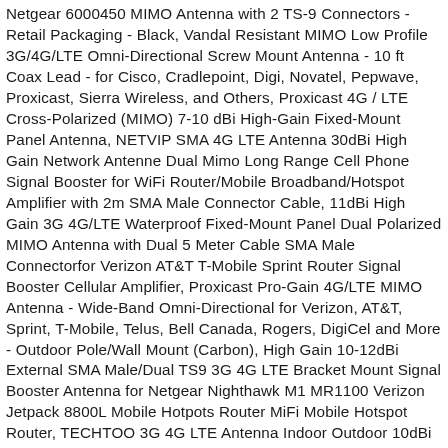Netgear 6000450 MIMO Antenna with 2 TS-9 Connectors - Retail Packaging - Black, Vandal Resistant MIMO Low Profile 3G/4G/LTE Omni-Directional Screw Mount Antenna - 10 ft Coax Lead - for Cisco, Cradlepoint, Digi, Novatel, Pepwave, Proxicast, Sierra Wireless, and Others, Proxicast 4G / LTE Cross-Polarized (MIMO) 7-10 dBi High-Gain Fixed-Mount Panel Antenna, NETVIP SMA 4G LTE Antenna 30dBi High Gain Network Antenne Dual Mimo Long Range Cell Phone Signal Booster for WiFi Router/Mobile Broadband/Hotspot Amplifier with 2m SMA Male Connector Cable, 11dBi High Gain 3G 4G/LTE Waterproof Fixed-Mount Panel Dual Polarized MIMO Antenna with Dual 5 Meter Cable SMA Male Connectorfor Verizon AT&T T-Mobile Sprint Router Signal Booster Cellular Amplifier, Proxicast Pro-Gain 4G/LTE MIMO Antenna - Wide-Band Omni-Directional for Verizon, AT&T, Sprint, T-Mobile, Telus, Bell Canada, Rogers, DigiCel and More - Outdoor Pole/Wall Mount (Carbon), High Gain 10-12dBi External SMA Male/Dual TS9 3G 4G LTE Bracket Mount Signal Booster Antenna for Netgear Nighthawk M1 MR1100 Verizon Jetpack 8800L Mobile Hotpots Router MiFi Mobile Hotspot Router, TECHTOO 3G 4G LTE Antenna Indoor Outdoor 10dBi Directional Wide Band WiFi MIMO Antenna 698-2690MHz Panel Antenna Wall Mounting Kit for Cellphone Signal Amplifier/MiFi Jetpack/Mobile Hotspot Device, Bingfu High Gain 4G LTE Antenna 35dBi Panel MIMO SMA Male TS9 Antenna Compatible with 4G LTE Wireless CPE Router Mobile Hotspot MiFi Mobile Broadband...